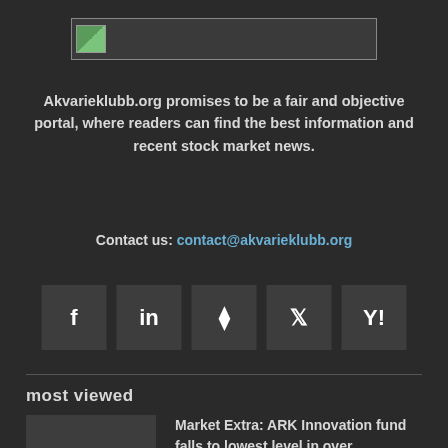[Figure (logo): Website logo placeholder image with small green icon]
Akvarieklubb.org promises to be a fair and objective portal, where readers can find the best information and recent stock market news.
Contact us: contact@akvarieklubb.org
[Figure (other): Social media icons: Facebook (f), LinkedIn (in), RSS (rss), Twitter (bird), Yahoo (Y!)]
most viewed
Market Extra: ARK Innovation fund falls to lowest level in over...